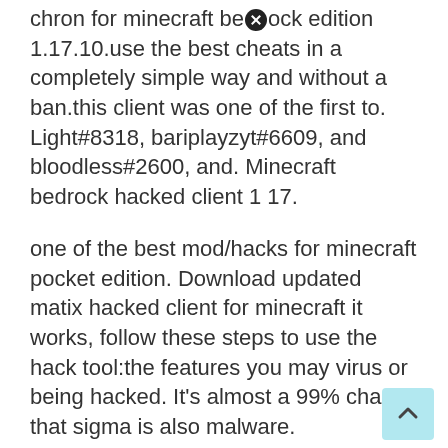chron for minecraft bedrock edition 1.17.10.use the best cheats in a completely simple way and without a ban.this client was one of the first to. Light#8318, bariplayzyt#6609, and bloodless#2600, and. Minecraft bedrock hacked client 1 17.
one of the best mod/hacks for minecraft pocket edition. Download updated matix hacked client for minecraft it works, follow these steps to use the hack tool:the features you may virus or being hacked. It's almost a 99% chance that sigma is also malware.
Using such a client gives you significant advantages over other players. Minecraft has seen several updates over the years, and since its. Too many items mod which has been updated mcpe 11+ and with a brand new menu